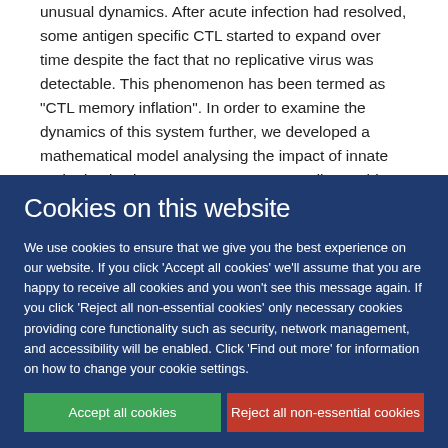unusual dynamics. After acute infection had resolved, some antigen specific CTL started to expand over time despite the fact that no replicative virus was detectable. This phenomenon has been termed as "CTL memory inflation". In order to examine the dynamics of this system further, we developed a mathematical model analysing the impact of innate and adaptive immune responses. According to this model, a
Cookies on this website
We use cookies to ensure that we give you the best experience on our website. If you click 'Accept all cookies' we'll assume that you are happy to receive all cookies and you won't see this message again. If you click 'Reject all non-essential cookies' only necessary cookies providing core functionality such as security, network management, and accessibility will be enabled. Click 'Find out more' for information on how to change your cookie settings.